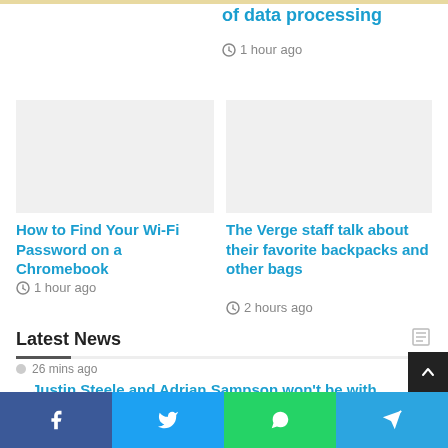of data processing
1 hour ago
[Figure (photo): Gray placeholder image for article about Wi-Fi Password on Chromebook]
How to Find Your Wi-Fi Password on a Chromebook
1 hour ago
[Figure (photo): Gray placeholder image for article about backpacks]
The Verge staff talk about their favorite backpacks and other bags
2 hours ago
Latest News
26 mins ago
Justin Steele and Adrian Sampson won't be with the